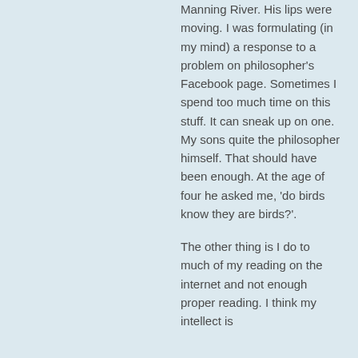Manning River. His lips were moving. I was formulating (in my mind) a response to a problem on philosopher's Facebook page. Sometimes I spend too much time on this stuff. It can sneak up on one. My sons quite the philosopher himself. That should have been enough. At the age of four he asked me, 'do birds know they are birds?'.
The other thing is I do to much of my reading on the internet and not enough proper reading. I think my intellect is